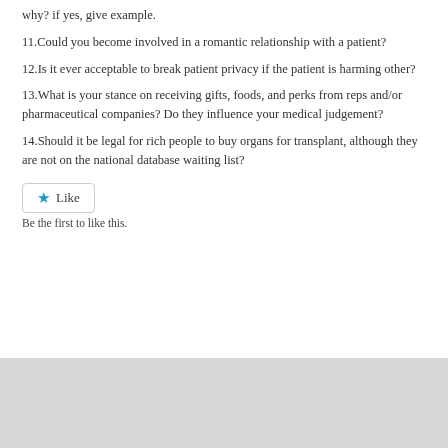why? if yes, give example.
11.Could you become involved in a romantic relationship with a patient?
12.Is it ever acceptable to break patient privacy if the patient is harming other?
13.What is your stance on receiving gifts, foods, and perks from reps and/or pharmaceutical companies? Do they influence your medical judgement?
14.Should it be legal for rich people to buy organs for transplant, although they are not on the national database waiting list?
Like
Be the first to like this.
FOLLOW US
Practice Questions For The Traveling 4th Year Podiatry Student On-the-Go